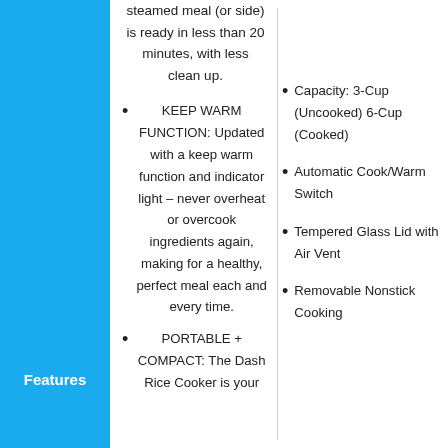steamed meal (or side) is ready in less than 20 minutes, with less clean up.
KEEP WARM FUNCTION: Updated with a keep warm function and indicator light – never overheat or overcook ingredients again, making for a healthy, perfect meal each and every time.
PORTABLE + COMPACT: The Dash Rice Cooker is your
Capacity: 3-Cup (Uncooked) 6-Cup (Cooked)
Automatic Cook/Warm Switch
Tempered Glass Lid with Air Vent
Removable Nonstick Cooking
Features